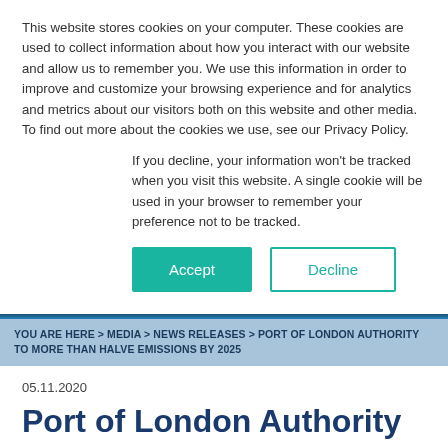This website stores cookies on your computer. These cookies are used to collect information about how you interact with our website and allow us to remember you. We use this information in order to improve and customize your browsing experience and for analytics and metrics about our visitors both on this website and other media. To find out more about the cookies we use, see our Privacy Policy.
If you decline, your information won't be tracked when you visit this website. A single cookie will be used in your browser to remember your preference not to be tracked.
Accept
Decline
YOU ARE HERE > MEDIA > NEWS RELEASES > PORT OF LONDON AUTHORITY TO MORE THAN HALVE EMISSIONS BY 2025
05.11.2020
Port of London Authority to more than halve emissions by